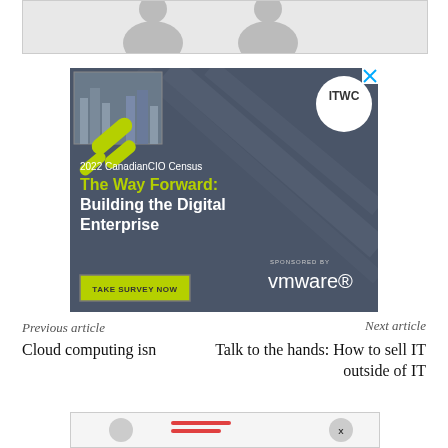[Figure (illustration): Partial view of a person silhouette (profile photo placeholder) in a bordered box at the top of the page]
[Figure (infographic): Advertisement for 2022 CanadianCIO Census - The Way Forward: Building the Digital Enterprise. Dark gray background with diagonal design elements, city photo, ITWC logo circle, green and white text, Take Survey Now button, sponsored by VMware.]
Previous article
Next article
Cloud computing isn
Talk to the hands: How to sell IT outside of IT
[Figure (infographic): Partial bottom advertisement strip visible at the very bottom of the page]